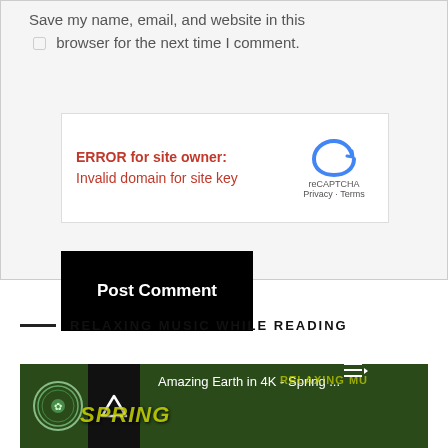Save my name, email, and website in this browser for the next time I comment.
[Figure (screenshot): reCAPTCHA widget showing ERROR for site owner: Invalid domain for site key, with Google reCAPTCHA logo and Privacy/Terms links]
Post Comment
RELAXING MUSIC WHILE READING
[Figure (screenshot): YouTube video thumbnail for Amazing Earth in 4K - Spring ... with play controls and upward arrow button]